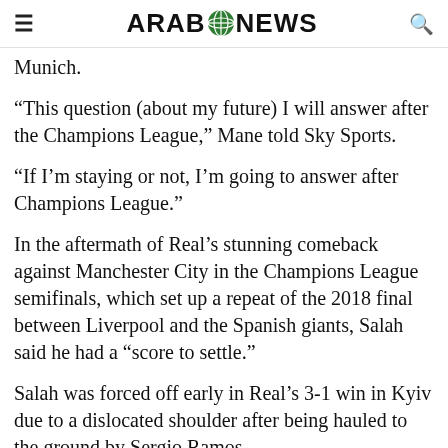ARAB NEWS
Munich.
“This question (about my future) I will answer after the Champions League,” Mane told Sky Sports.
“If I’m staying or not, I’m going to answer after Champions League.”
In the aftermath of Real’s stunning comeback against Manchester City in the Champions League semifinals, which set up a repeat of the 2018 final between Liverpool and the Spanish giants, Salah said he had a “score to settle.”
Salah was forced off early in Real’s 3-1 win in Kyiv due to a dislocated shoulder after being hauled to the ground by Sergio Ramos.